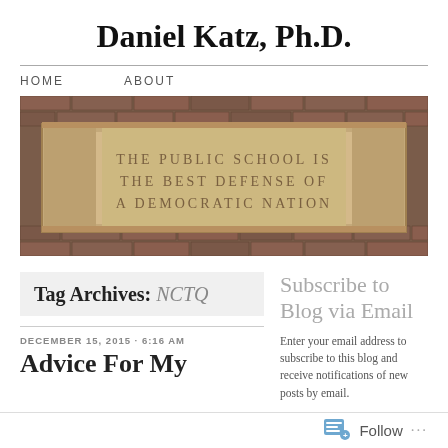Daniel Katz, Ph.D.
HOME   ABOUT
[Figure (photo): Stone building facade with carved inscription reading: THE PUBLIC SCHOOL IS THE BEST DEFENSE OF A DEMOCRATIC NATION]
Tag Archives: NCTQ
DECEMBER 15, 2015 · 6:16 AM
Advice For My...
Subscribe to Blog via Email
Enter your email address to subscribe to this blog and receive notifications of new posts by email.
Follow